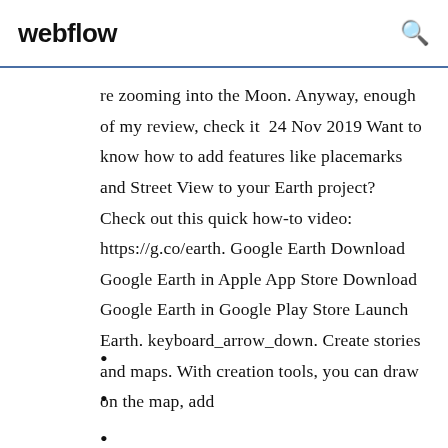webflow
re zooming into the Moon. Anyway, enough of my review, check it  24 Nov 2019 Want to know how to add features like placemarks and Street View to your Earth project? Check out this quick how-to video: https://g.co/earth. Google Earth Download Google Earth in Apple App Store Download Google Earth in Google Play Store Launch Earth. keyboard_arrow_down. Create stories and maps. With creation tools, you can draw on the map, add